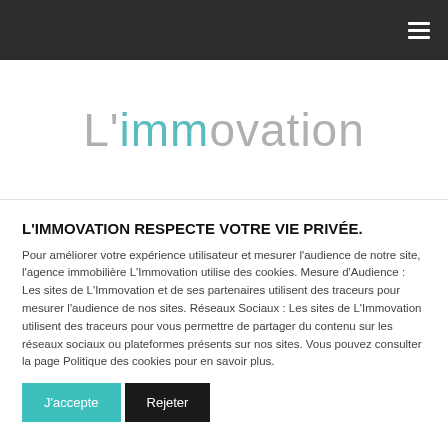Navigation bar with hamburger menu
L'immovation
L'IMMOVATION RESPECTE VOTRE VIE PRIVÉE.
Pour améliorer votre expérience utilisateur et mesurer l'audience de notre site, l'agence immobilière L'Immovation utilise des cookies. Mesure d'Audience : Les sites de L'Immovation et de ses partenaires utilisent des traceurs pour mesurer l'audience de nos sites. Réseaux Sociaux : Les sites de L'Immovation utilisent des traceurs pour vous permettre de partager du contenu sur les réseaux sociaux ou plateformes présents sur nos sites. Vous pouvez consulter la page Politique des cookies pour en savoir plus.
J'accepte
Rejeter